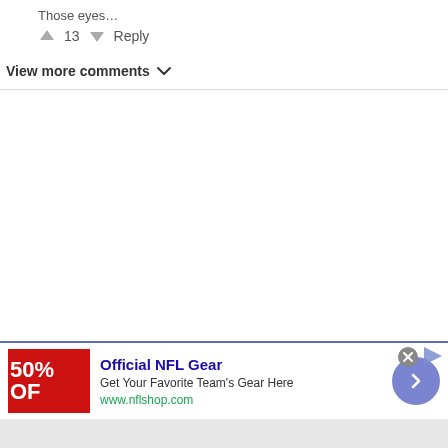Those eyes…
↑ 13 ↓ Reply
View more comments ∨
[Figure (screenshot): Advertisement for Official NFL Gear showing a red banner with '50% OFF' text, the ad title 'Official NFL Gear', description 'Get Your Favorite Team's Gear Here', URL 'www.nflshop.com', a close button, an info button, and a blue circular navigation arrow button.]